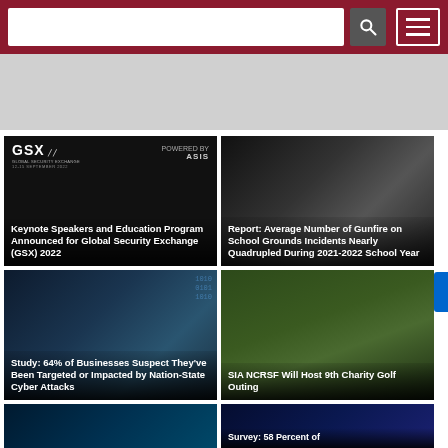Security news website header with search bar and menu
[Figure (screenshot): Gray banner area, partial content cropped]
[Figure (photo): GSX 2022 card - black background with GSX logo and ASIS branding]
Keynote Speakers and Education Program Announced for Global Security Exchange (GSX) 2022
[Figure (photo): Dark photo of person on school grounds]
Report: Average Number of Gunfire on School Grounds Incidents Nearly Quadrupled During 2021-2022 School Year
[Figure (photo): Cybersecurity digital background with binary code]
Study: 64% of Businesses Suspect They've Been Targeted or Impacted by Nation-State Cyber Attacks
[Figure (photo): Outdoor charity golf event with people seated]
SIA NCRSF Will Host 9th Charity Golf Outing
[Figure (photo): Network/cybersecurity digital graphic, teal network nodes]
[Figure (photo): Digital blue cybersecurity graphic]
Survey: 58 Percent of